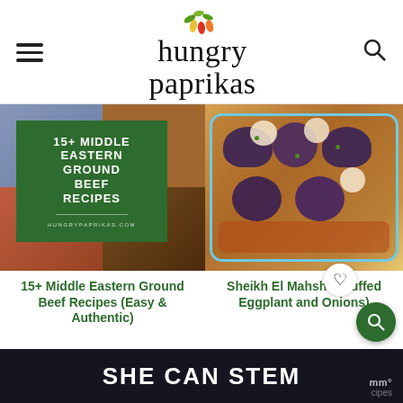hungry paprikas
[Figure (photo): Collage of Middle Eastern ground beef recipes with green overlay box showing title '15+ MIDDLE EASTERN GROUND BEEF RECIPES' and hungrypaprikas.com]
[Figure (photo): Overhead photo of Sheikh El Mahshi (Stuffed Eggplant and Onions) in a blue-rimmed dish with orange tomato sauce]
15+ Middle Eastern Ground Beef Recipes (Easy & Authentic)
Sheikh El Mahshi (Stuffed Eggplant and Onions)
[Figure (screenshot): Dark banner advertisement reading SHE CAN STEM with partial 'recipes' text on the right]
SHE CAN STEM